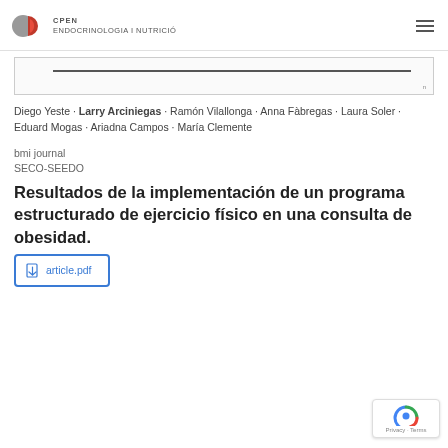CPEN ENDOCRINOLOGIA I NUTRICIÓ
[Figure (other): Partial view of a document or chart preview box with a horizontal line]
Diego Yeste · Larry Arciniegas · Ramón Vilallonga · Anna Fàbregas · Laura Soler · Eduard Mogas · Ariadna Campos · María Clemente
bmi journal
SECO-SEEDO
Resultados de la implementación de un programa estructurado de ejercicio físico en una consulta de obesidad.
article.pdf